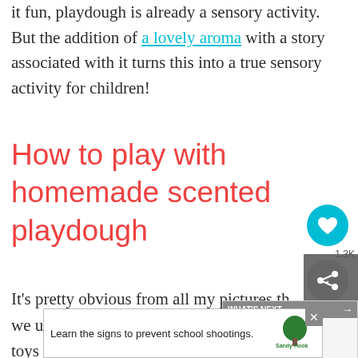it fun, playdough is already a sensory activity. But the addition of a lovely aroma with a story associated with it turns this into a true sensory activity for children!
How to play with homemade scented playdough
It's pretty obvious from all my pictures that we used some fun Beauty and the Beast toys to play with the Enchanted Rose ho...
[Figure (screenshot): Social share widget with heart icon showing 1.3K shares and share button]
[Figure (screenshot): What's Next panel with thumbnail image and text 'Homemade Candy...']
[Figure (screenshot): Sandy Hook Promise advertisement banner: 'Learn the signs to prevent school shootings.']